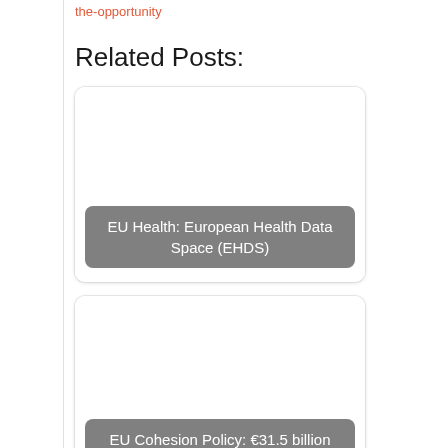the-opportunity
Related Posts:
[Figure (screenshot): Card with white image area and grey rounded label: EU Health: European Health Data Space (EHDS)]
[Figure (screenshot): Card with white image area and grey rounded label: EU Cohesion Policy: €31.5 billion for Romania]